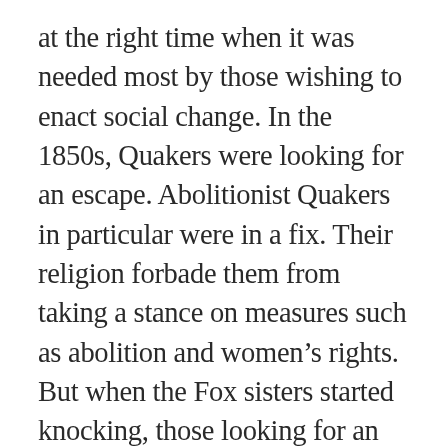at the right time when it was needed most by those wishing to enact social change. In the 1850s, Quakers were looking for an escape. Abolitionist Quakers in particular were in a fix. Their religion forbade them from taking a stance on measures such as abolition and women’s rights. But when the Fox sisters started knocking, those looking for an answer saw a way out.